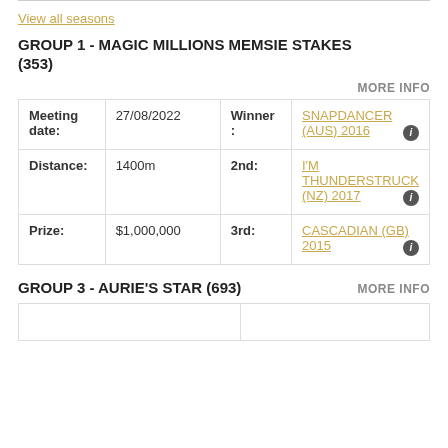View all seasons
GROUP 1 - MAGIC MILLIONS MEMSIE STAKES (353)
MORE INFO
| Meeting date: | 27/08/2022 | Winner: | SNAPDANCER (AUS) 2016 |
| --- | --- | --- | --- |
| Meeting date: | 27/08/2022 | Winner: | SNAPDANCER (AUS) 2016 |
| Distance: | 1400m | 2nd: | I'M THUNDERSTRUCK (NZ) 2017 |
| Prize: | $1,000,000 | 3rd: | CASCADIAN (GB) 2015 |
GROUP 3 - AURIE'S STAR (693)
MORE INFO